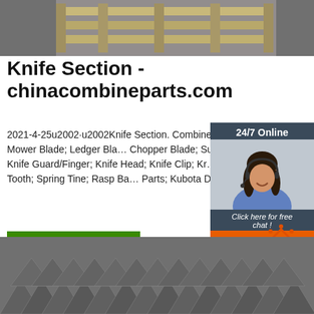[Figure (photo): Top photo showing metal/wooden crate or pallet material, gray tones]
Knife Section - chinacombineparts.com
2021-4-25u2002·u2002Knife Section. Combine Harvester and Mower Blade; Ledger Blade; Chopper Blade; Sugarcane Blade; Knife Guard/Finger; Knife Head; Knife Clip; Knife Assy; Spike Tooth; Spring Tine; Rasp Bar Parts; Kubota DC-60/68 Parts
[Figure (photo): Chat widget with woman wearing headset, 24/7 Online label, Click here for free chat, QUOTATION button]
Get Price
[Figure (photo): Bottom photo showing stacked metal angle iron / knife sections, dark gray]
[Figure (other): TOP back-to-top icon with orange house/triangle shape and dots]